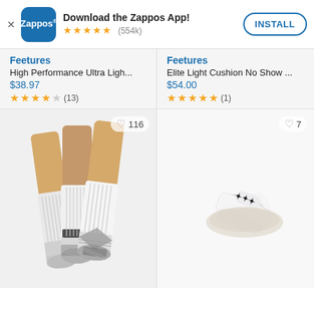[Figure (screenshot): Zappos app install banner with logo, star rating (554k reviews), and INSTALL button]
Feetures
High Performance Ultra Ligh...
$38.97
★★★★☆ (13)
Feetures
Elite Light Cushion No Show ...
$54.00
★★★★★ (1)
[Figure (photo): Three white and grey athletic crew socks (Under Armour style) with grey patterned heel and toe on mannequin feet. Wishlist: 116.]
[Figure (photo): Six white no-show socks with black logo on mannequin feet fanned out. Wishlist: 7.]